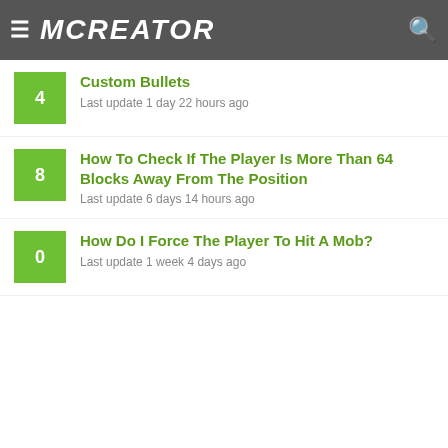MCREATOR
Custom Bullets
Last update 1 day 22 hours ago
How To Check If The Player Is More Than 64 Blocks Away From The Position
Last update 6 days 14 hours ago
How Do I Force The Player To Hit A Mob?
Last update 1 week 4 days ago